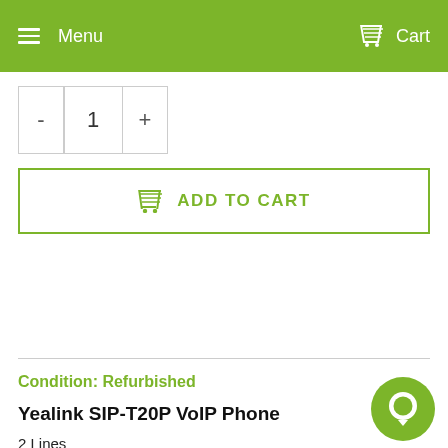Menu   Cart
- 1 +
ADD TO CART
Condition: Refurbished
Yealink SIP-T20P VoIP Phone
2 Lines
2 Ethernet Ports
HD Voice, Codec, Handset, and Speaker